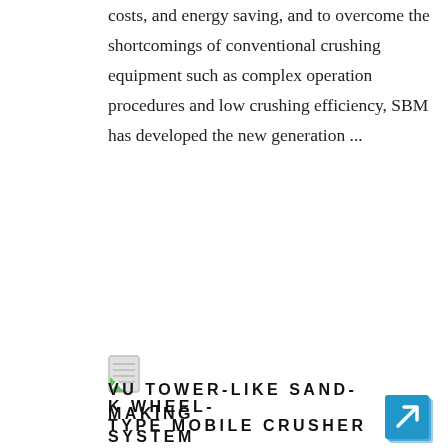costs, and energy saving, and to overcome the shortcomings of conventional crushing equipment such as complex operation procedures and low crushing efficiency, SBM has developed the new generation ...
[Figure (illustration): Small document/page icon with green diagonal stripe]
K WHEEL-TYPE MOBILE CRUSHER
K Wheel-type Mobile Crusher is, also known as mobile crushing station, developed based on years of independent research and manufacturing experience of mobile crushers. In combination with user demands, K Wheel-type Mobile crusher is optimized and in...
[Figure (illustration): Blue square button with white arrow pointing up-right (external link icon)]
[Figure (illustration): Small document/page icon with green diagonal stripe]
VU TOWER-LIKE SAND-MAKING SYSTEM